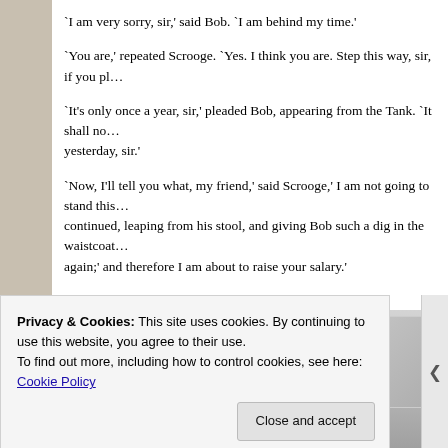`I am very sorry, sir,' said Bob. `I am behind my time.'
`You are,' repeated Scrooge. `Yes. I think you are. Step this way, sir, if you pl…
`It's only once a year, sir,' pleaded Bob, appearing from the Tank. `It shall no… yesterday, sir.'
`Now, I'll tell you what, my friend,' said Scrooge,' I am not going to stand this… continued, leaping from his stool, and giving Bob such a dig in the waistcoat… again;' and therefore I am about to raise your salary.'
[Figure (screenshot): Cookie consent banner overlay on a webpage. Banner reads: 'Privacy & Cookies: This site uses cookies. By continuing to use this website, you agree to their use. To find out more, including how to control cookies, see here: Cookie Policy'. A 'Close and accept' button is at the bottom right. Behind the banner is a partially visible image with grey tones.]